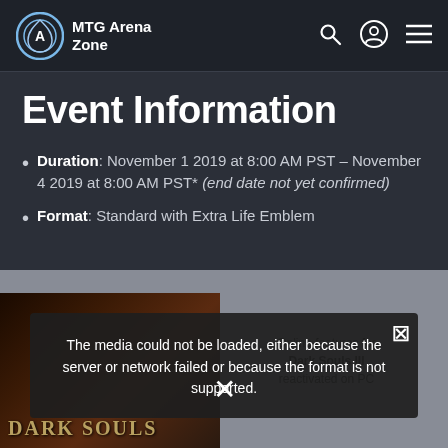MTG Arena Zone
Event Information
Duration: November 1 2019 at 8:00 AM PST – November 4 2019 at 8:00 AM PST* (end date not yet confirmed)
Format: Standard with Extra Life Emblem
[Figure (screenshot): Dark Souls video ad overlay with error message: The media could not be loaded, either because the server or network failed or because the format is not supported.]